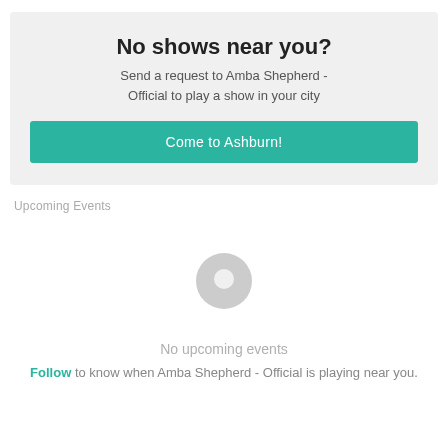No shows near you?
Send a request to Amba Shepherd - Official to play a show in your city
Come to Ashburn!
Upcoming Events
[Figure (illustration): Grey map pin / location marker icon]
No upcoming events
Follow to know when Amba Shepherd - Official is playing near you.